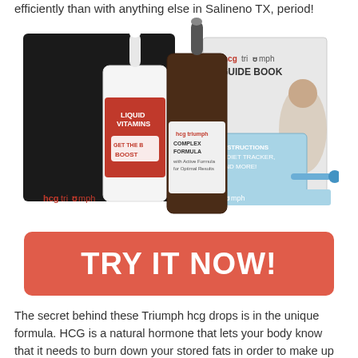efficiently than with anything else in Salineno TX, period!
[Figure (photo): HCG Triumph product kit including a dark bottle with dropper labeled 'hcg triumph complex formula', a red bottle labeled 'Liquid Vitamins Get the B Boost', a guide book labeled 'hcg triumph GUIDE BOOK', instructions card reading 'INSTRUCTIONS & DIET TRACKER, AND MORE!', and a blue applicator, all arranged in front of a black box branded hcgtriumph.]
TRY IT NOW!
The secret behind these Triumph hcg drops is in the unique formula. HCG is a natural hormone that lets your body know that it needs to burn down your stored fats in order to make up for the lower intake of calories. What this means for you in Salineno TX, is that by sticking to the Triumph HCG Diet